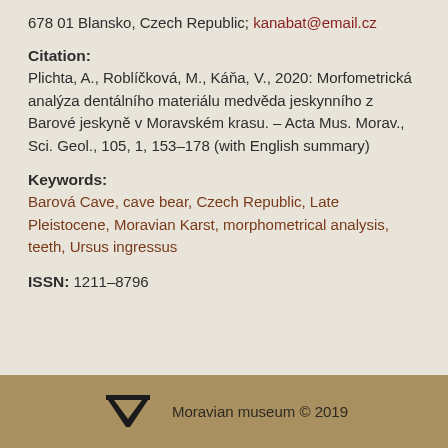678 01 Blansko, Czech Republic; kanabat@email.cz
Citation:
Plichta, A., Roblíčková, M., Káňa, V., 2020: Morfometrická analýza dentálního materiálu medvěda jeskynního z Barové jeskyně v Moravském krasu. – Acta Mus. Morav., Sci. Geol., 105, 1, 153–178 (with English summary)
Keywords:
Barová Cave, cave bear, Czech Republic, Late Pleistocene, Moravian Karst, morphometrical analysis, teeth, Ursus ingressus
ISSN: 1211–8796
Moravian museum © 2019